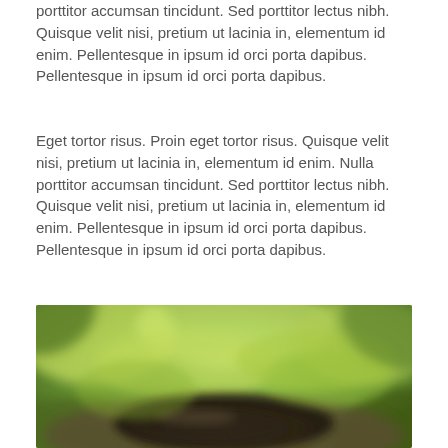porttitor accumsan tincidunt. Sed porttitor lectus nibh. Quisque velit nisi, pretium ut lacinia in, elementum id enim. Pellentesque in ipsum id orci porta dapibus. Pellentesque in ipsum id orci porta dapibus.
Eget tortor risus. Proin eget tortor risus. Quisque velit nisi, pretium ut lacinia in, elementum id enim. Nulla porttitor accumsan tincidunt. Sed porttitor lectus nibh. Quisque velit nisi, pretium ut lacinia in, elementum id enim. Pellentesque in ipsum id orci porta dapibus. Pellentesque in ipsum id orci porta dapibus.
[Figure (photo): Blurred outdoor photograph showing green foliage/leaves in the background and a dark object (possibly a rock or log) in the foreground, with bokeh effect.]